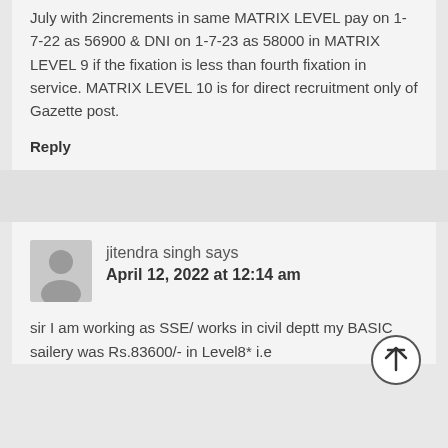July with 2increments in same MATRIX LEVEL pay on 1-7-22 as 56900 & DNI on 1-7-23 as 58000 in MATRIX LEVEL 9 if the fixation is less than fourth fixation in service. MATRIX LEVEL 10 is for direct recruitment only of Gazette post.
Reply
jitendra singh says
April 12, 2022 at 12:14 am
sir I am working as SSE/ works in civil deptt my BASIC sailery was Rs.83600/- in Level8* i.e